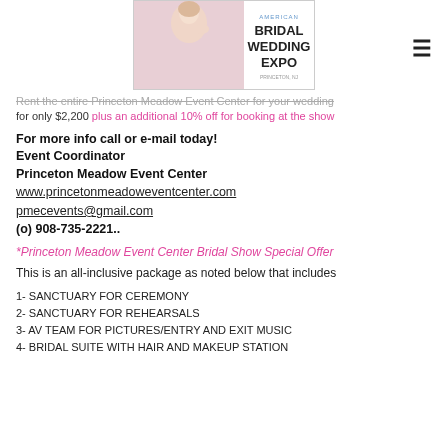[Figure (logo): American Bridal Wedding Expo logo with image of bride]
Rent the entire Princeton Meadow Event Center for your wedding for only $2,200 plus an additional 10% off for booking at the show
For more info call or e-mail today!
Event Coordinator
Princeton Meadow Event Center
www.princetonmeadoweventcenter.com
pmecevents@gmail.com
(o) 908-735-2221..
*Princeton Meadow Event Center Bridal Show Special Offer
This is an all-inclusive package as noted below that includes
1- SANCTUARY FOR CEREMONY
2- SANCTUARY FOR REHEARSALS
3- AV TEAM FOR PICTURES/ENTRY AND EXIT MUSIC
4- BRIDAL SUITE WITH HAIR AND MAKEUP STATION